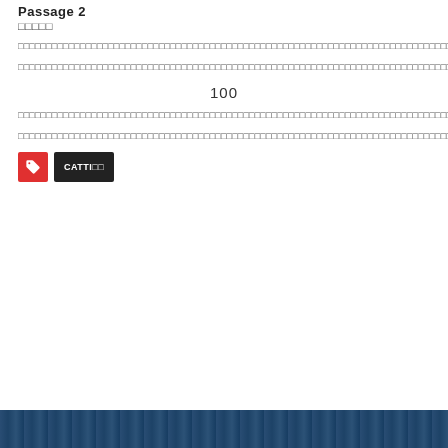Passage 2
□□□□□
□□□□□□□□□□□□□□□□□□□□□□□□□□□□□□□□□□□□□□□□□□□□□□□□□□□□□□□□□□□□□□□□□□□□□□□□□□□□□□□□□□□□□□□□□□□□□□□□□□□□□□□□□□□□□□□□□□□□□□□□□□□□□□□□□□□□□□□□□□□□□□□□□□□□□□□□□□□□□□□□
□□□□□□□□□□□□□□□□□□□□□□□□□□□□□□□□□□□□□□□□□□□□□□□□□□□□□□□□□□□□□□□□□□□□□□□□□□□□□□□□□□□□□□□□□□□□□□□□□□□□□□□□□□□□□□□□□□□□□□□□□□□□□□□□□□□□□□□□□□□□□□□□□□□□□□□□□□
100
□□□□□□□□□□□□□□□□□□□□□□□□□□□□□□□□□□□□□□□□□□□□□□□□□□□□□□□□□□□□□□□□□□□□□□□□□□□□□□□□□□□□□□□
□□□□□□□□□□□□□□□□□□□□□□□□□□□□□□□□□□□□□□□□□□□□□□□□□□□□□□□□□□□□□□□□□□□□□□□□□□□□□□□□□□□□□□□□□□□□□□□□□□□□□□□□□□□□□□□□□□□□□□□□□□□□□□□□□□□□□□□□□□□□□□□□□□□□□□□□□□□□□□□□□□□□□□
CATTI□□
[Figure (photo): Dark blue/teal photo at the bottom of the page, appears to show some objects in dim lighting]